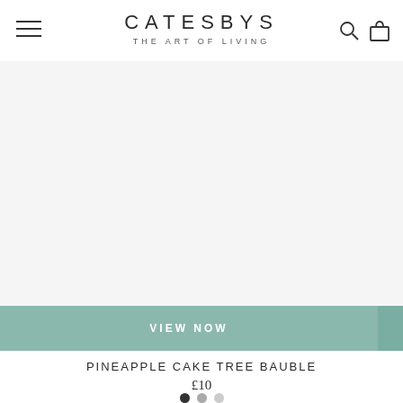CATESBYS THE ART OF LIVING
[Figure (photo): Large white/light grey product image area showing a Pineapple Cake Tree Bauble product photograph (image area appears mostly blank/white in this view)]
VIEW NOW
PINEAPPLE CAKE TREE BAUBLE
£10